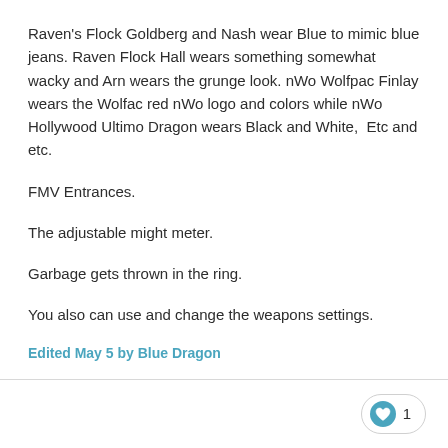Raven's Flock Goldberg and Nash wear Blue to mimic blue jeans. Raven Flock Hall wears something somewhat wacky and Arn wears the grunge look. nWo Wolfpac Finlay wears the Wolfac red nWo logo and colors while nWo Hollywood Ultimo Dragon wears Black and White,  Etc and etc.
FMV Entrances.
The adjustable might meter.
Garbage gets thrown in the ring.
You also can use and change the weapons settings.
Edited May 5 by Blue Dragon
Craig H
Posted May 5